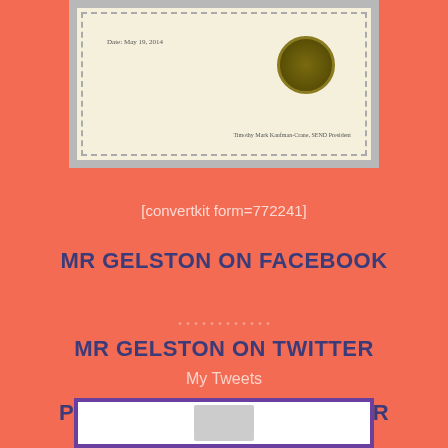[Figure (illustration): Certificate document with decorative border, gold seal, date text reading 'Date: May 19, 2014', and signature line at bottom right]
[convertkit form=772241]
MR GELSTON ON FACEBOOK
MR GELSTON ON TWITTER
My Tweets
PROUD TO BE A GHF WRITER
[Figure (illustration): Partial image at bottom of page with purple border, showing beginning of GHF Writer badge or certificate]